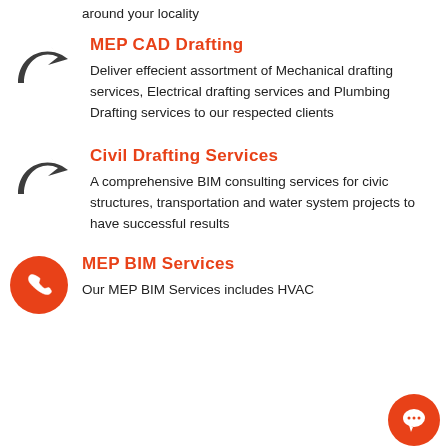around your locality
MEP CAD Drafting
Deliver effecient assortment of Mechanical drafting services, Electrical drafting services and Plumbing Drafting services to our respected clients
Civil Drafting Services
A comprehensive BIM consulting services for civic structures, transportation and water system projects to have successful results
MEP BIM Services
Our MEP BIM Services includes HVAC